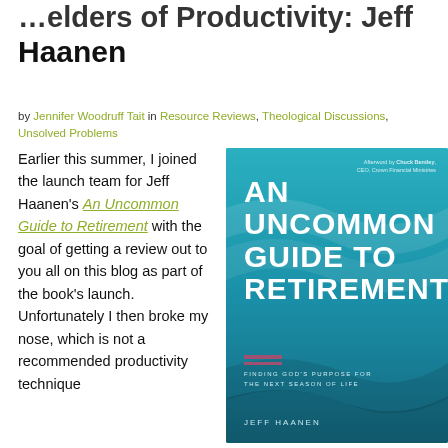…elders of Productivity: Jeff Haanen
by Jennifer Woodruff Tait in Resource Reviews, Theological Discussions, Unsolved Problems
Earlier this summer, I joined the launch team for Jeff Haanen's An Uncommon Guide to Retirement with the goal of getting a review out to you all on this blog as part of the book's launch. Unfortunately I then broke my nose, which is not a recommended productivity technique
[Figure (photo): Book cover of 'An Uncommon Guide to Retirement: Finding God's Purpose for the Next Season of Life' by Jeff Haanen. Afterword by Chuck Bentley, CEO Crown Financial Ministries. Teal/turquoise wave design background with white bold title text and pinkish-red double line decoration.]